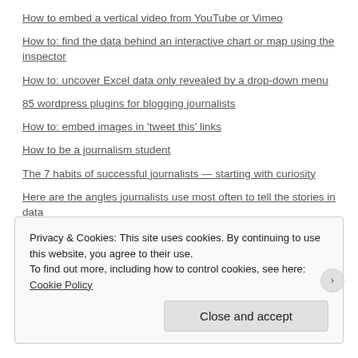How to embed a vertical video from YouTube or Vimeo
How to: find the data behind an interactive chart or map using the inspector
How to: uncover Excel data only revealed by a drop-down menu
85 wordpress plugins for blogging journalists
How to: embed images in 'tweet this' links
How to be a journalism student
The 7 habits of successful journalists — starting with curiosity
Here are the angles journalists use most often to tell the stories in data
How to: fix spreadsheet dates that are in both US and UK formats
The inverted pyramid of data journalism
Privacy & Cookies: This site uses cookies. By continuing to use this website, you agree to their use.
To find out more, including how to control cookies, see here: Cookie Policy